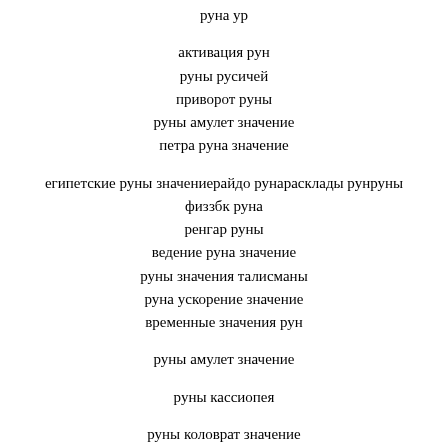руна ур
активация рун
руны русичей
приворот руны
руны амулет значение
петра руна значение
египетские руны значениерайдо рунараскладыо рунруны
физзбк руна
ренгар руны
ведение руна значение
руны значения талисманы
руна ускорение значение
временные значения рун
руны амулет значение
руны кассиопея
руны коловрат значение
руна велес
алатырь руны